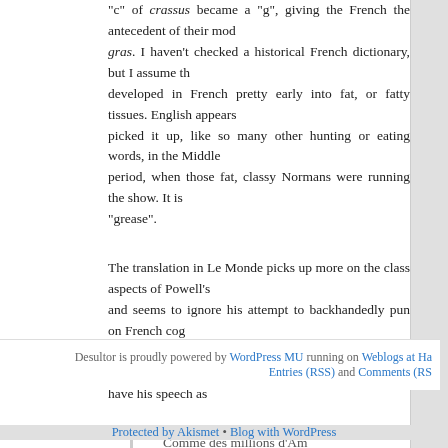“c” of crassus became a “g”, giving the French the antecedent of their mod gras. I haven’t checked a historical French dictionary, but I assume th developed in French pretty early into fat, or fatty tissues. English appears picked it up, like so many other hunting or eating words, in the Middle period, when those fat, classy Normans were running the show. It is “grease”.
The translation in Le Monde picks up more on the class aspects of Powell’s and seems to ignore his attempt to backhandedly pun on French cog suggest that Americans are too fat (you’re not so skinny yourself, Mr. Powe have his speech as
Comme des millions d’Am
Posted in Uncategorized | 9 Comments »
Desultor is proudly powered by WordPress MU running on Weblogs at Ha Entries (RSS) and Comments (RS
Protected by Akismet • Blog with WordPress